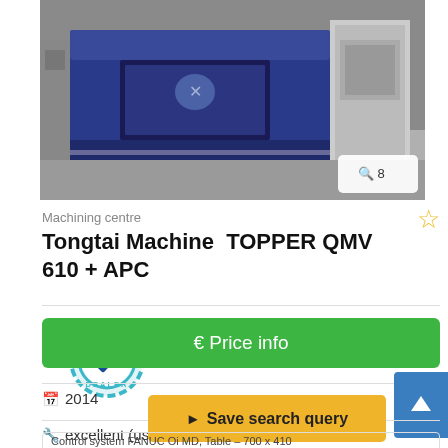[Figure (photo): CNC machining centre (Tongtai TOPPER QMV 610 + APC) shown in a factory setting with blue casing]
8 (image count badge)
Machining centre
Tongtai Machine  TOPPER QMV 610 + APC
[Figure (logo): Certified Dealer badge - circular gear icon with checkmark and text CERTIFIED DEALER]
€ Price info
2014
excellent (us...
Save search query
Control system FANUC Oi MD, Table – 700 x 410